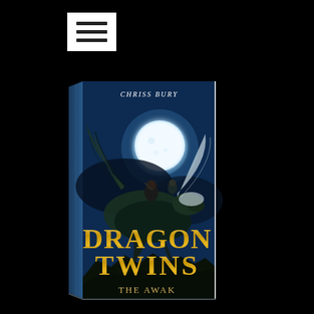[Figure (photo): Screenshot of a website or app interface showing a white menu icon (hamburger icon with three horizontal lines) on a black background in the top-left area, and below it a 3D rendered book cover image. The book cover shows 'Dragon Twins' by Chriss Bury with fantasy artwork of two figures riding a dragon in front of a large moon against a dark blue sky. The subtitle reads 'The Awak...' (partially visible). The book is shown in a 3D perspective tilted slightly. The overall background is black.]